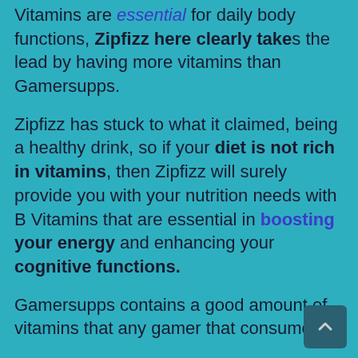Vitamins are essential for daily body functions, Zipfizz here clearly takes the lead by having more vitamins than Gamersupps.
Zipfizz has stuck to what it claimed, being a healthy drink, so if your diet is not rich in vitamins, then Zipfizz will surely provide you with your nutrition needs with B Vitamins that are essential in boosting your energy and enhancing your cognitive functions.
Gamersupps contains a good amount of vitamins that any gamer that consumes